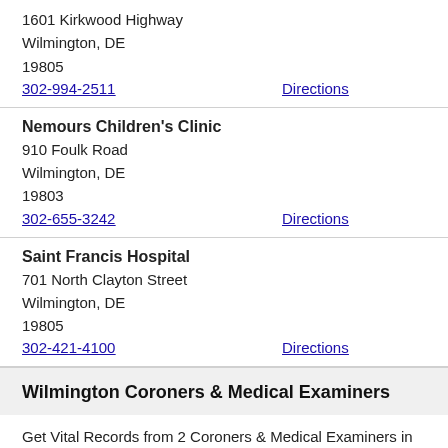1601 Kirkwood Highway
Wilmington, DE
19805
302-994-2511    Directions
Nemours Children's Clinic
910 Foulk Road
Wilmington, DE
19803
302-655-3242    Directions
Saint Francis Hospital
701 North Clayton Street
Wilmington, DE
19805
302-421-4100    Directions
Wilmington Coroners & Medical Examiners
Get Vital Records from 2 Coroners & Medical Examiners in